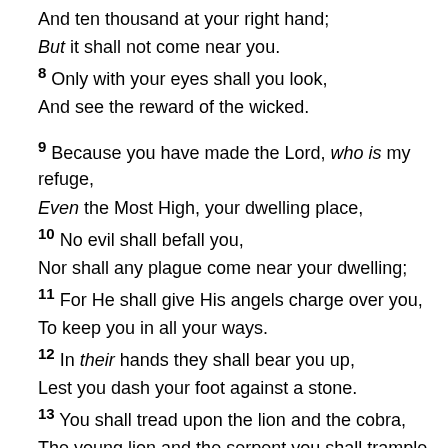And ten thousand at your right hand;
But it shall not come near you.
8 Only with your eyes shall you look,
And see the reward of the wicked.
9 Because you have made the Lord, who is my refuge,
Even the Most High, your dwelling place,
10 No evil shall befall you,
Nor shall any plague come near your dwelling;
11 For He shall give His angels charge over you,
To keep you in all your ways.
12 In their hands they shall bear you up,
Lest you dash your foot against a stone.
13 You shall tread upon the lion and the cobra,
The young lion and the serpent you shall trample underfoot.